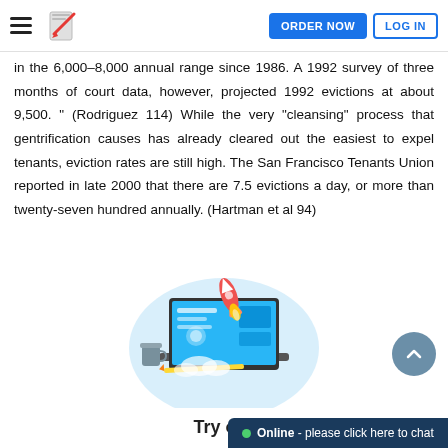ORDER NOW | LOG IN
in the 6,000–8,000 annual range since 1986. A 1992 survey of three months of court data, however, projected 1992 evictions at about 9,500. " (Rodriguez 114) While the very "cleansing" process that gentrification causes has already cleared out the easiest to expel tenants, eviction rates are still high. The San Francisco Tenants Union reported in late 2000 that there are 7.5 evictions a day, or more than twenty-seven hundred annually. (Hartman et al 94)
[Figure (illustration): Illustration of a laptop with a rocket launching out of the screen, with a coffee cup and pencil on a desk, against a light blue circular background.]
Try our
Online - please click here to chat